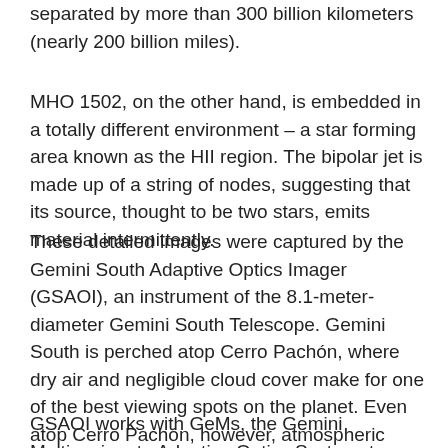separated by more than 300 billion kilometers (nearly 200 billion miles).
MHO 1502, on the other hand, is embedded in a totally different environment – a star forming area known as the HII region. The bipolar jet is made up of a string of nodes, suggesting that its source, thought to be two stars, emits material intermittently.
These detailed images were captured by the Gemini South Adaptive Optics Imager (GSAOI), an instrument of the 8.1-meter-diameter Gemini South Telescope. Gemini South is perched atop Cerro Pachón, where dry air and negligible cloud cover make for one of the best viewing spots on the planet. Even atop Cerro Pachón, however, atmospheric turbulence causes the stars to blur and twinkle.
GSAOI works with GeMs, the Gemini Multiconjugate Adaptive Optics System, to cancel out this blurring effect